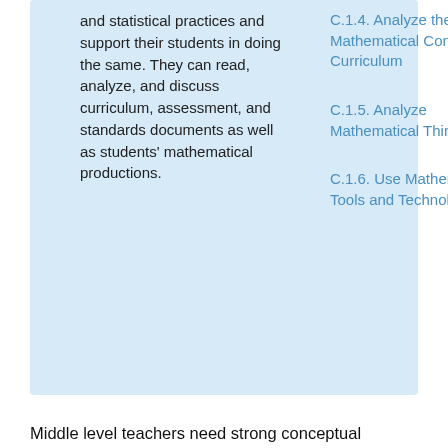and statistical practices and support their students in doing the same. They can read, analyze, and discuss curriculum, assessment, and standards documents as well as students' mathematical productions.
C.1.4. Analyze the Mathematical Content of Curriculum
C.1.5. Analyze Mathematical Thinking
C.1.6. Use Mathematical Tools and Technology
Middle level teachers need strong conceptual